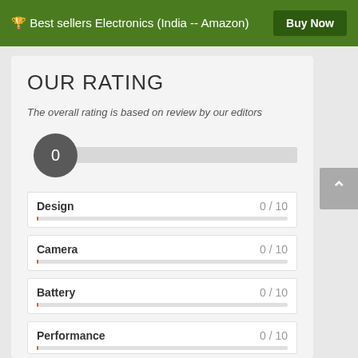🏆 Best sellers Electronics (India -- Amazon)
Buy Now
OUR RATING
The overall rating is based on review by our editors
[Figure (infographic): Overall rating slider showing 0 with a dark circle badge on a grey track]
Design 0 / 10
Camera 0 / 10
Battery 0 / 10
Performance 0 / 10